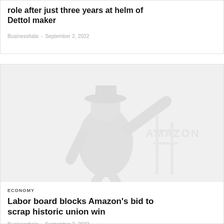role after just three years at helm of Dettol maker
Businesshala  -  September 2, 2022
[Figure (photo): Faded/watermark-style image of a figure, possibly a worker or soldier silhouette, very light gray tones]
ECONOMY
Labor board blocks Amazon's bid to scrap historic union win
Businesshala  -  September 2, 2022